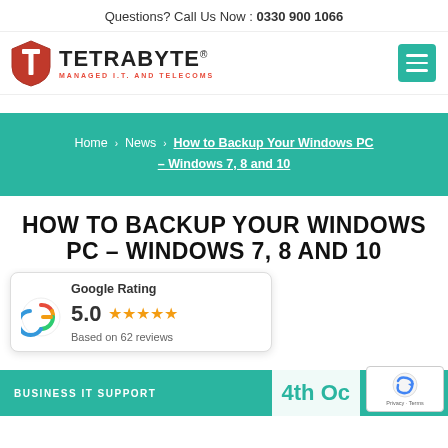Questions? Call Us Now : 0330 900 1066
[Figure (logo): Tetrabyte logo with shield icon and tagline MANAGED I.T. AND TELECOMS]
Home > News > How to Backup Your Windows PC – Windows 7, 8 and 10
HOW TO BACKUP YOUR WINDOWS PC – WINDOWS 7, 8 AND 10
[Figure (infographic): Google Rating widget showing 5.0 stars based on 62 reviews]
BUSINESS IT SUPPORT
4th Oc